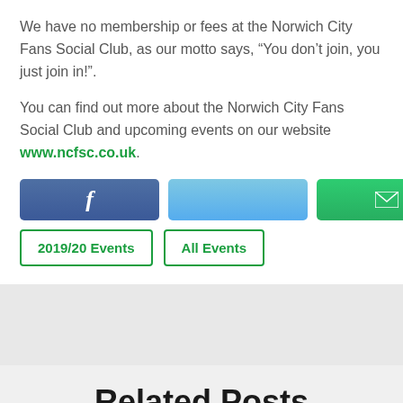We have no membership or fees at the Norwich City Fans Social Club, as our motto says, “You don’t join, you just join in!”.
You can find out more about the Norwich City Fans Social Club and upcoming events on our website www.ncfsc.co.uk.
[Figure (other): Three social sharing buttons: Facebook (dark blue with 'f' icon), Twitter (light blue, empty), and Email (green with envelope icon)]
[Figure (other): Two outline buttons: '2019/20 Events' and 'All Events', both with green border and green text]
Related Posts